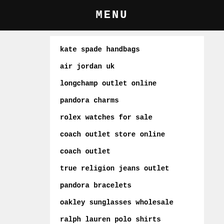MENU
kate spade handbags
air jordan uk
longchamp outlet online
pandora charms
rolex watches for sale
coach outlet store online
coach outlet
true religion jeans outlet
pandora bracelets
oakley sunglasses wholesale
ralph lauren polo shirts
kate spade bags
coach outlet